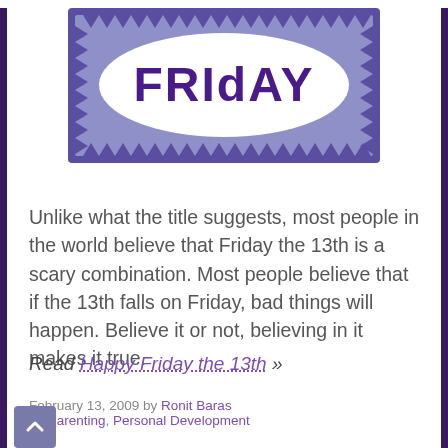[Figure (illustration): A decorative banner with a periwinkle/lavender blue background and dark purple border with triangular zigzag edges. In the center is a white oval ellipse with the text 'FRIdAY' in large bold dark purple mixed-case letters.]
Unlike what the title suggests, most people in the world believe that Friday the 13th is a scary combination. Most people believe that if the 13th falls on Friday, bad things will happen. Believe it or not, believing in it makes it true.
Read Happy Friday the 13th »
February 13, 2009 by Ronit Baras
In: Parenting, Personal Development